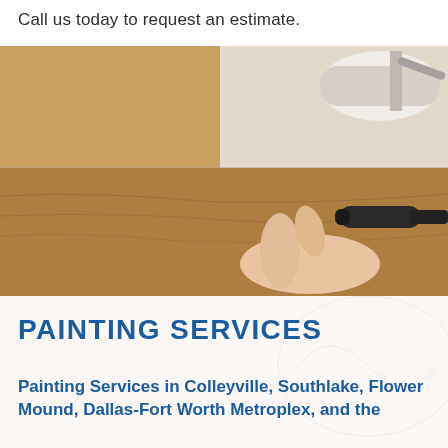Call us today to request an estimate.
[Figure (photo): Two painting photos stacked: top photo shows a paint roller applying light/beige paint to a textured wall surface; bottom photo shows a hand holding a dark painting brush or tool against a brown textured wall surface.]
PAINTING SERVICES
Painting Services in Colleyville, Southlake, Flower Mound, Dallas-Fort Worth Metroplex, and the